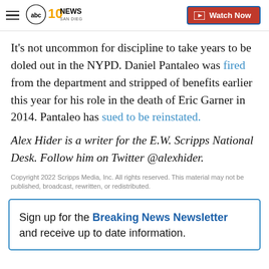10 News San Diego (ABC) — Watch Now
It's not uncommon for discipline to take years to be doled out in the NYPD. Daniel Pantaleo was fired from the department and stripped of benefits earlier this year for his role in the death of Eric Garner in 2014. Pantaleo has sued to be reinstated.
Alex Hider is a writer for the E.W. Scripps National Desk. Follow him on Twitter @alexhider.
Copyright 2022 Scripps Media, Inc. All rights reserved. This material may not be published, broadcast, rewritten, or redistributed.
Sign up for the Breaking News Newsletter and receive up to date information.